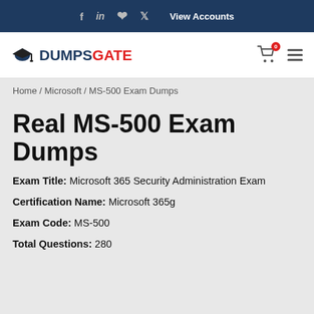f  in  Pinterest  Twitter  View Accounts
[Figure (logo): DumpsGate logo with graduation cap icon, cart icon with 0 badge, hamburger menu]
Home / Microsoft / MS-500 Exam Dumps
Real MS-500 Exam Dumps
Exam Title: Microsoft 365 Security Administration Exam
Certification Name: Microsoft 365g
Exam Code: MS-500
Total Questions: 280